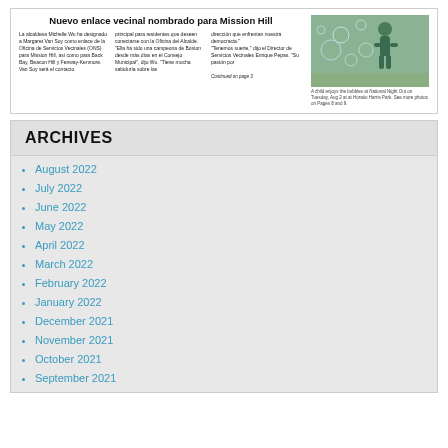Nuevo enlace vecinal nombrado para Mission Hill
La alcaldesa Michelle Wu ha designado a Margaret Van Soy como enlace de la Oficina de Servicios Vecinales (ONS) para Mission Hill, así como para Back Bay, Beacon Hill y Fenway-Kenmore. Van Soy será el contacto principal para residentes que deseen conectarse con la Oficina del Alcalde. "Ella ha sido una campeona de Boston desde más días en el Consejo Municipal", dijo Wu. "Tiene mucha sabiduría sobre las dirección que enfrentan nuestras democracia." "Tenemos suerte", dijo el Director de Servicios Vecinales Enrique Pepas. "Su pasión por Continued on page 3
[Figure (photo): A child enjoys bubbles at National Night Out on Tuesday, Aug. 2 at at Horatio Harris Park.]
A child enjoys the bubbles at National Night Out on Tuesday, Aug 2 at at Horatio Harris Park. See more photos on Pages 8 and 9.
ARCHIVES
August 2022
July 2022
June 2022
May 2022
April 2022
March 2022
February 2022
January 2022
December 2021
November 2021
October 2021
September 2021